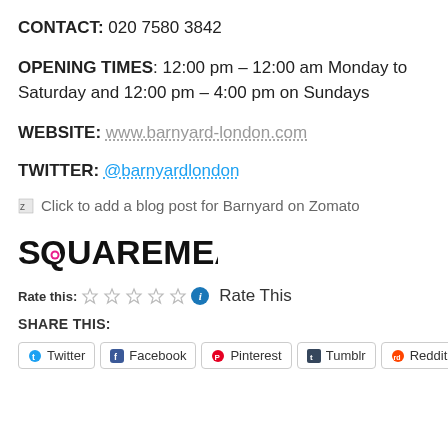CONTACT: 020 7580 3842
OPENING TIMES: 12:00 pm – 12:00 am Monday to Saturday and 12:00 pm – 4:00 pm on Sundays
WEBSITE: www.barnyard-london.com
TWITTER: @barnyardlondon
Click to add a blog post for Barnyard on Zomato
[Figure (logo): SquareMeal logo in bold black text with pink circular cutout in the Q]
Rate this: Rate This
SHARE THIS:
Twitter | Facebook | Pinterest | Tumblr | Reddit